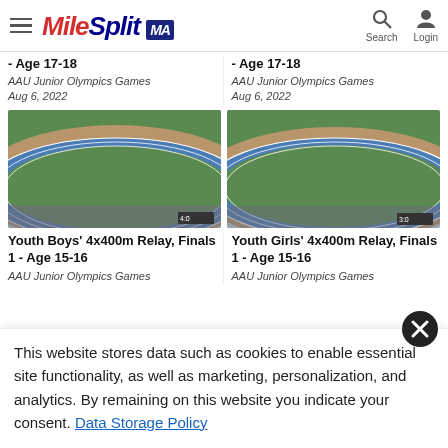MileSplit MA
- Age 17-18
AAU Junior Olympics Games
Aug 6, 2022
- Age 17-18
AAU Junior Olympics Games
Aug 6, 2022
[Figure (photo): Aerial view of a blue athletics track with runners and spectators]
[Figure (photo): Aerial view of a blue athletics track with white tent and spectators]
Youth Boys' 4x400m Relay, Finals 1 - Age 15-16
AAU Junior Olympics Games
Youth Girls' 4x400m Relay, Finals 1 - Age 15-16
AAU Junior Olympics Games
This website stores data such as cookies to enable essential site functionality, as well as marketing, personalization, and analytics. By remaining on this website you indicate your consent. Data Storage Policy